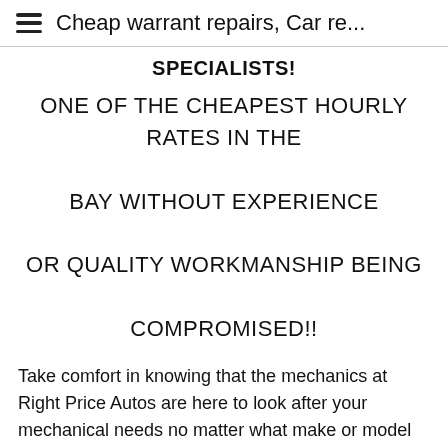Cheap warrant repairs, Car re...
SPECIALISTS!
ONE OF THE CHEAPEST HOURLY RATES IN THE BAY WITHOUT EXPERIENCE OR QUALITY WORKMANSHIP BEING COMPROMISED!!
Take comfort in knowing that the mechanics at Right Price Autos are here to look after your mechanical needs no matter what make or model vehicle you drive!